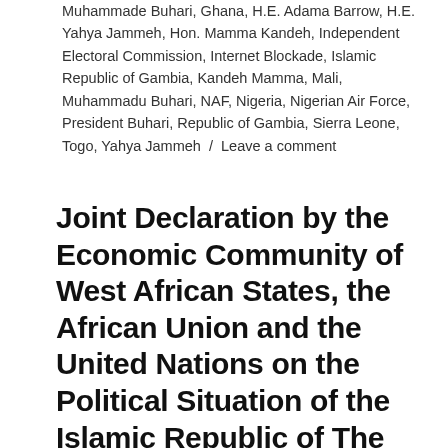Muhammade Buhari, Ghana, H.E. Adama Barrow, H.E. Yahya Jammeh, Hon. Mamma Kandeh, Independent Electoral Commission, Internet Blockade, Islamic Republic of Gambia, Kandeh Mamma, Mali, Muhammadu Buhari, NAF, Nigeria, Nigerian Air Force, President Buhari, Republic of Gambia, Sierra Leone, Togo, Yahya Jammeh / Leave a comment
Joint Declaration by the Economic Community of West African States, the African Union and the United Nations on the Political Situation of the Islamic Republic of The Gambia (23.01.2017)